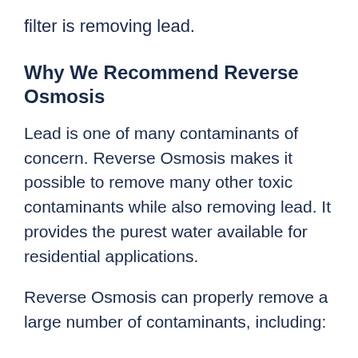filter is removing lead.
Why We Recommend Reverse Osmosis
Lead is one of many contaminants of concern. Reverse Osmosis makes it possible to remove many other toxic contaminants while also removing lead. It provides the purest water available for residential applications.
Reverse Osmosis can properly remove a large number of contaminants, including: